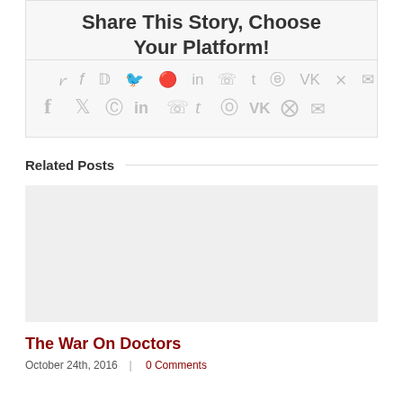Share This Story, Choose Your Platform!
[Figure (infographic): Social media sharing icons: Facebook, Twitter, Reddit, LinkedIn, WhatsApp, Tumblr, Pinterest, VK, XING, Email]
Related Posts
[Figure (photo): Placeholder image for related post]
The War On Doctors
October 24th, 2016  |  0 Comments